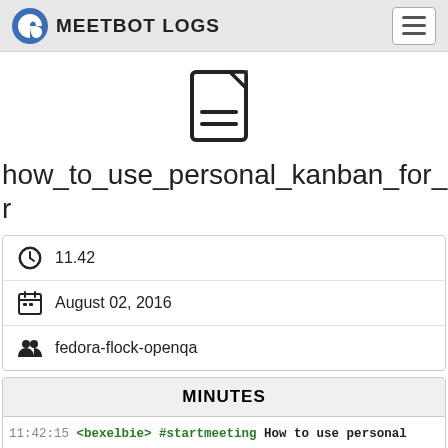MEETBOT LOGS
[Figure (illustration): Document/file icon: a page with folded top-right corner and two horizontal lines representing text]
how_to_use_personal_kanban_for_better
| 🕐 | 11.42 |
| 📅 | August 02, 2016 |
| 👥 | fedora-flock-openqa |
MINUTES
11:42:15 <bexelbie> #startmeeting How to use personal kanban for better organization
11:42:15 <zodbot> Meeting started Tue Aug. 2 11:42:15